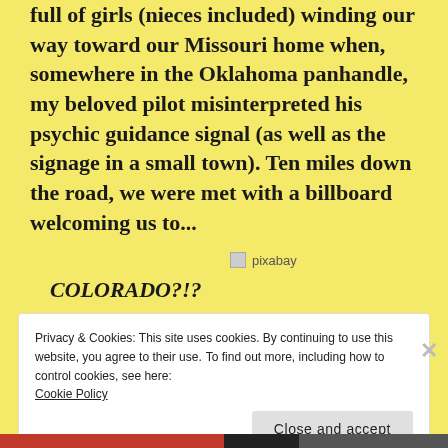full of girls (nieces included) winding our way toward our Missouri home when, somewhere in the Oklahoma panhandle, my beloved pilot misinterpreted his psychic guidance signal (as well as the signage in a small town). Ten miles down the road, we were met with a billboard welcoming us to...
[Figure (other): Pixabay image placeholder with icon and text 'pixabay']
COLORADO?!?
Privacy & Cookies: This site uses cookies. By continuing to use this website, you agree to their use.
To find out more, including how to control cookies, see here:
Cookie Policy
Close and accept